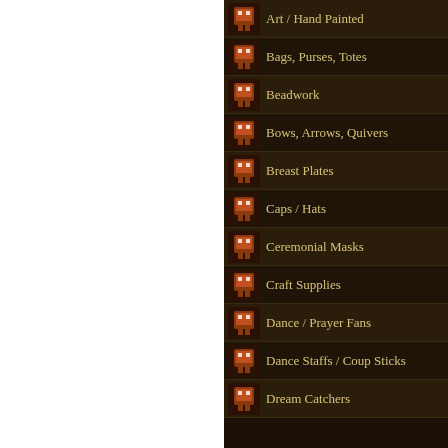Art / Hand Painted
Bags, Purses, Totes
Beadwork
Bows, Arrows, Quivers
Breast Plates
Caps / Hats
Ceremonial Masks
Craft Supplies
Dance / Prayer Fans
Dance Staffs / Coup Sticks
Dream Catchers